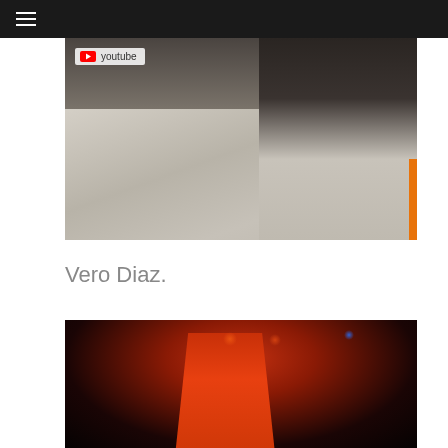≡
[Figure (screenshot): YouTube embedded video showing people's legs and high-heel shoes on a concrete floor, with YouTube logo badge in top-left corner]
Vero Diaz.
[Figure (photo): Photo of a woman in an orange outfit on a dark stage with colorful stage lights (orange, red, blue) in the background]